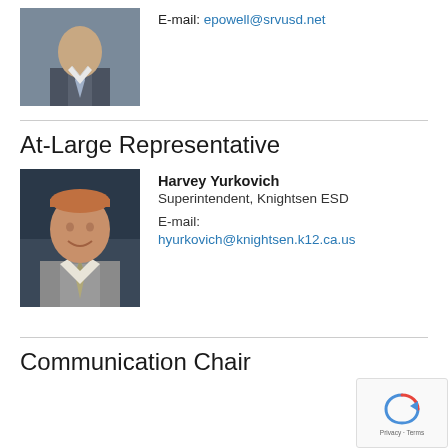[Figure (photo): Photo of a man in suit and tie at top of page]
E-mail: epowell@srvusd.net
At-Large Representative
[Figure (photo): Photo of Harvey Yurkovich smiling, wearing a suit]
Harvey Yurkovich
Superintendent, Knightsen ESD

E-mail:
hyurkovich@knightsen.k12.ca.us
Communication Chair